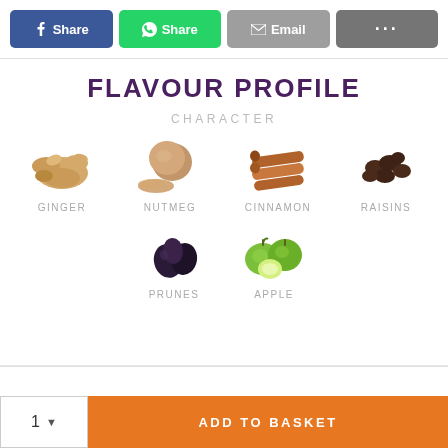[Figure (screenshot): Social share buttons row: Facebook Share (blue), WhatsApp Share (green), Email (grey), More (dark grey dots)]
FLAVOUR PROFILE
CHARACTER
[Figure (infographic): Flavour profile grid showing 6 ingredients: GINGER (root photo), NUTMEG (nutmeg photo), CINNAMON (cinnamon sticks photo), RAISINS (raisins photo), PRUNES (prunes photo), APPLE (green apples photo)]
ADD TO BASKET